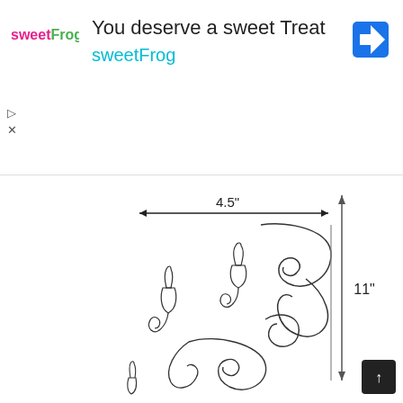[Figure (screenshot): Advertisement banner for sweetFrog with logo, tagline 'You deserve a sweet Treat', brand name 'sweetFrog', and Google Maps navigation icon]
[Figure (engineering-diagram): Engineering/craft diagram showing a decorative scrollwork/filigree pattern with candle or flame-like elements, dimensioned 4.5 inches wide by 11 inches tall. A horizontal arrow spans the width labeled 4.5", and a vertical arrow spans the height labeled 11".]